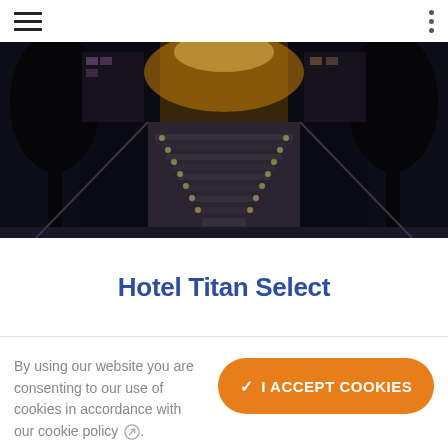hamburger menu icon | vertical dots menu icon
[Figure (photo): Nighttime exterior photo of hotel entrance/staircase leading up, flanked by dark silhouetted trees and illuminated building facade]
Hotel Titan Select
By using our website you are consenting to our use of cookies in accordance with our cookie policy ↗.
✓ I ACCEPT COOKIES